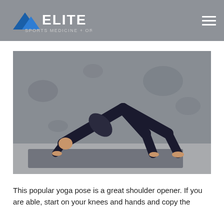ELITE SPORTS MEDICINE + ORTHOPEDICS
[Figure (photo): Woman in black athletic wear performing a downward dog yoga pose on a dark mat against a concrete textured wall background.]
This popular yoga pose is a great shoulder opener. If you are able, start on your knees and hands and copy the